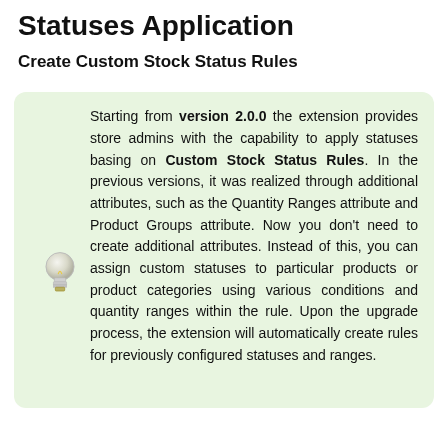Statuses Application
Create Custom Stock Status Rules
Starting from version 2.0.0 the extension provides store admins with the capability to apply statuses basing on Custom Stock Status Rules. In the previous versions, it was realized through additional attributes, such as the Quantity Ranges attribute and Product Groups attribute. Now you don't need to create additional attributes. Instead of this, you can assign custom statuses to particular products or product categories using various conditions and quantity ranges within the rule. Upon the upgrade process, the extension will automatically create rules for previously configured statuses and ranges.